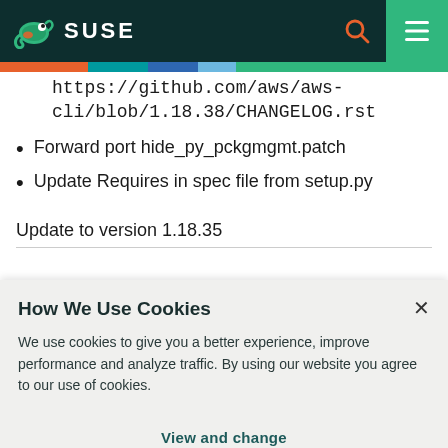SUSE
https://github.com/aws/aws-cli/blob/1.18.38/CHANGELOG.rst
Forward port hide_py_pckgmgmt.patch
Update Requires in spec file from setup.py
Update to version 1.18.35
How We Use Cookies
We use cookies to give you a better experience, improve performance and analyze traffic. By using our website you agree to our use of cookies.
View and change cookie preferences >